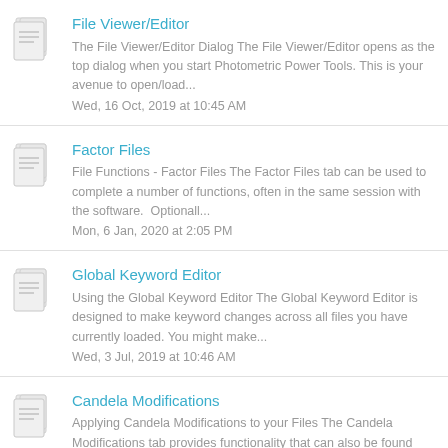File Viewer/Editor
The File Viewer/Editor Dialog The File Viewer/Editor opens as the top dialog when you start Photometric Power Tools. This is your avenue to open/load...
Wed, 16 Oct, 2019 at 10:45 AM
Factor Files
File Functions - Factor Files The Factor Files tab can be used to complete a number of functions, often in the same session with the software.  Optionall...
Mon, 6 Jan, 2020 at 2:05 PM
Global Keyword Editor
Using the Global Keyword Editor The Global Keyword Editor is designed to make keyword changes across all files you have currently loaded. You might make...
Wed, 3 Jul, 2019 at 10:46 AM
Candela Modifications
Applying Candela Modifications to your Files The Candela Modifications tab provides functionality that can also be found...